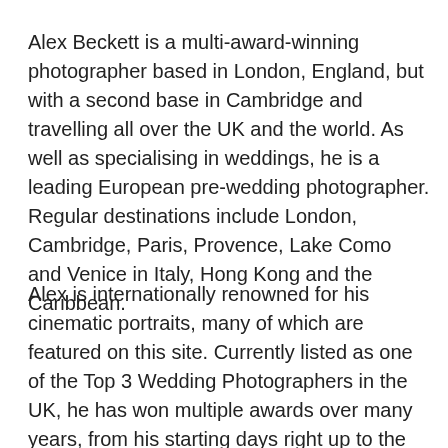Alex Beckett is a multi-award-winning photographer based in London, England, but with a second base in Cambridge and travelling all over the UK and the world. As well as specialising in weddings, he is a leading European pre-wedding photographer. Regular destinations include London, Cambridge, Paris, Provence, Lake Como and Venice in Italy, Hong Kong and the Caribbean.
Alex is internationally renowned for his cinematic portraits, many of which are featured on this site. Currently listed as one of the Top 3 Wedding Photographers in the UK, he has won multiple awards over many years, from his starting days right up to the present, so you can be confident that he is a